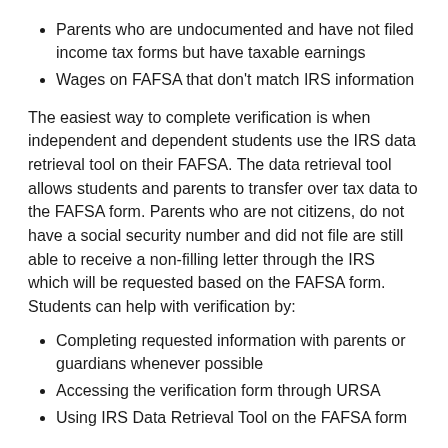Parents who are undocumented and have not filed income tax forms but have taxable earnings
Wages on FAFSA that don't match IRS information
The easiest way to complete verification is when independent and dependent students use the IRS data retrieval tool on their FAFSA. The data retrieval tool allows students and parents to transfer over tax data to the FAFSA form. Parents who are not citizens, do not have a social security number and did not file are still able to receive a non-filling letter through the IRS which will be requested based on the FAFSA form. Students can help with verification by:
Completing requested information with parents or guardians whenever possible
Accessing the verification form through URSA
Using IRS Data Retrieval Tool on the FAFSA form